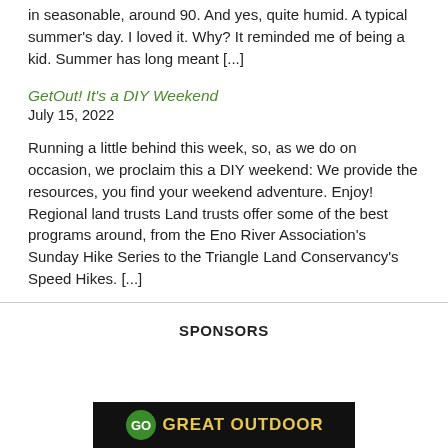in seasonable, around 90. And yes, quite humid. A typical summer's day. I loved it. Why? It reminded me of being a kid. Summer has long meant [...]
GetOut! It's a DIY Weekend
July 15, 2022
Running a little behind this week, so, as we do on occasion, we proclaim this a DIY weekend: We provide the resources, you find your weekend adventure. Enjoy! Regional land trusts Land trusts offer some of the best programs around, from the Eno River Association's Sunday Hike Series to the Triangle Land Conservancy's Speed Hikes. [...]
SPONSORS
[Figure (logo): Great Outdoor logo banner - black background with yellow text reading GREAT OUTDOOR and a green circular logo icon]